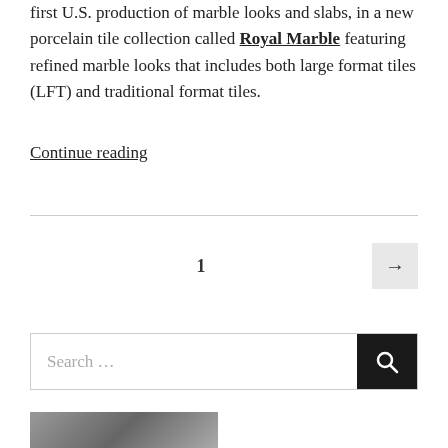first U.S. production of marble looks and slabs, in a new porcelain tile collection called Royal Marble featuring refined marble looks that includes both large format tiles (LFT) and traditional format tiles.
Continue reading
1
Search …
[Figure (photo): Partial view of a photo at the bottom of the page, partially cut off]